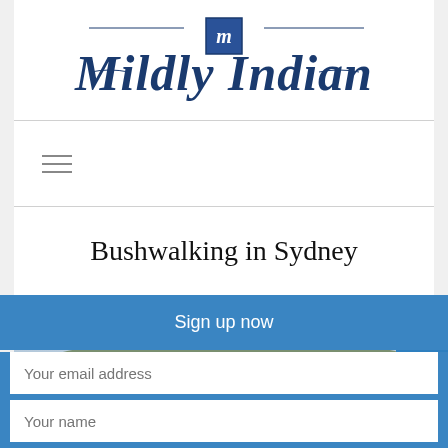[Figure (logo): Mildly Indian blog logo in dark blue Gothic/blackletter script with decorative badge emblem in center]
[Figure (other): Hamburger menu icon with three horizontal lines]
Bushwalking in Sydney
[Figure (photo): Partial photo of sky and landscape/hillside, cropped at bottom of visible area]
Sign up now
Your email address
Your name
SUBSCRIBE